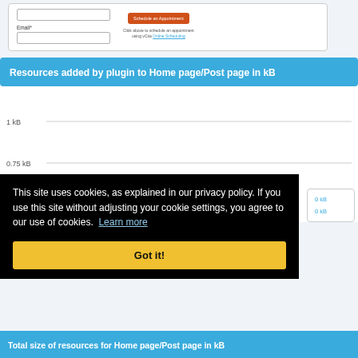[Figure (screenshot): Widget showing a form with an Email field and a Schedule an Appointment button with text 'Click above to schedule an appointment using vCita Online Scheduling']
Resources added by plugin to Home page/Post page in kB
[Figure (continuous-plot): Partial bar chart showing y-axis labels at 1 kB and 0.75 kB, with gridlines. Chart is partially obscured by cookie consent overlay.]
This site uses cookies, as explained in our privacy policy. If you use this site without adjusting your cookie settings, you agree to our use of cookies. Learn more
Got it!
Total size of resources for Home page/Post page in kB